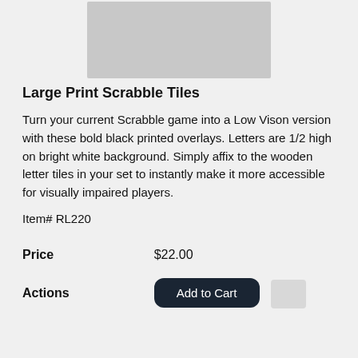[Figure (photo): Photo of large print Scrabble tiles spelling COUNCIL, placed on a ruler showing measurements 1 through 7]
Large Print Scrabble Tiles
Turn your current Scrabble game into a Low Vison version with these bold black printed overlays. Letters are 1/2 high on bright white background. Simply affix to the wooden letter tiles in your set to instantly make it more accessible for visually impaired players.
Item# RL220
| Price | $22.00 |
| Actions | Add to Cart |